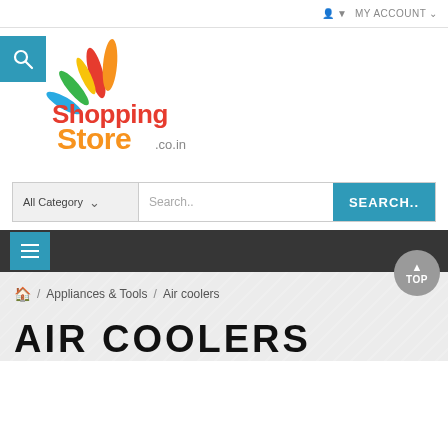MY ACCOUNT
[Figure (logo): ShoppingStore.co.in logo with colorful peacock feather design and blue search icon box]
All Category  Search..  SEARCH..
≡
TOP
🏠 / Appliances & Tools / Air coolers
AIR COOLERS